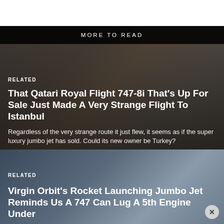MORE TO READ
RELATED
That Qatari Royal Flight 747-8i That's Up For Sale Just Made A Very Strange Flight To Istanbul
Regardless of the very strange route it just flew, it seems as if the super luxury jumbo jet has sold. Could its new owner be Turkey?
RELATED
Virgin Orbit's Rocket Launching Jumbo Jet Reminds Us A 747 Can Lug A 5th Engine Under